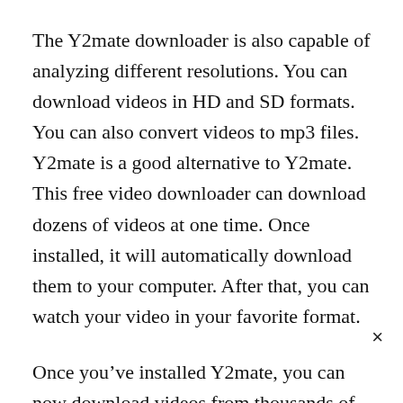The Y2mate downloader is also capable of analyzing different resolutions. You can download videos in HD and SD formats. You can also convert videos to mp3 files. Y2mate is a good alternative to Y2mate. This free video downloader can download dozens of videos at one time. Once installed, it will automatically download them to your computer. After that, you can watch your video in your favorite format.
Once you've installed Y2mate, you can now download videos from thousands of sites. It's possible to download videos in HD and save them